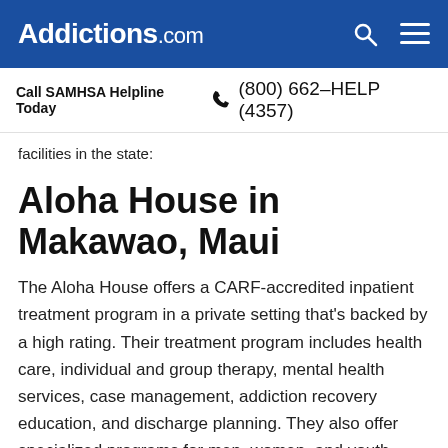Addictions.com
Call SAMHSA Helpline Today  (800) 662-HELP (4357)
facilities in the state:
Aloha House in Makawao, Maui
The Aloha House offers a CARF-accredited inpatient treatment program in a private setting that's backed by a high rating. Their treatment program includes health care, individual and group therapy, mental health services, case management, addiction recovery education, and discharge planning. They also offer specialized programs for men, women, and youth programs.